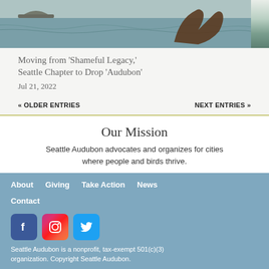[Figure (illustration): Historical illustration of whale hunting scene in ocean waters with whale tail visible]
Moving from ‘Shameful Legacy,’ Seattle Chapter to Drop ‘Audubon’
Jul 21, 2022
« OLDER ENTRIES
NEXT ENTRIES »
Our Mission
Seattle Audubon advocates and organizes for cities where people and birds thrive.
About   Giving   Take Action   News
Contact
[Figure (logo): Facebook, Instagram, and Twitter social media icon buttons]
Seattle Audubon is a nonprofit, tax-exempt 501(c)(3) organization. Copyright Seattle Audubon.